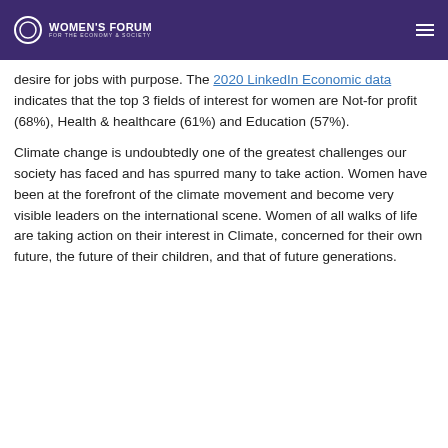WOMEN'S FORUM FOR THE ECONOMY & SOCIETY
desire for jobs with purpose. The 2020 LinkedIn Economic data indicates that the top 3 fields of interest for women are Not-for profit (68%), Health & healthcare (61%) and Education (57%).
Climate change is undoubtedly one of the greatest challenges our society has faced and has spurred many to take action. Women have been at the forefront of the climate movement and become very visible leaders on the international scene. Women of all walks of life are taking action on their interest in Climate, concerned for their own future, the future of their children, and that of future generations.